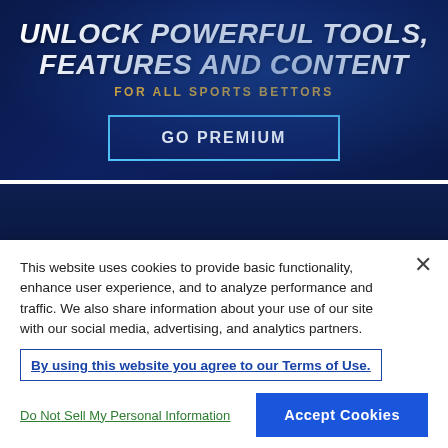[Figure (infographic): Dark blue promotional banner with white bold italic text 'UNLOCK POWERFUL TOOLS, FEATURES AND CONTENT', gold text 'FOR ALL SPORTS BETTORS', and a blue-outlined button labeled 'GO PREMIUM']
[Figure (infographic): Dark navy navigation bar with white text labels: NFL, MLB, NBA, NHL]
This website uses cookies to provide basic functionality, enhance user experience, and to analyze performance and traffic. We also share information about your use of our site with our social media, advertising, and analytics partners.
By using this website you agree to our Terms of Use.
Do Not Sell My Personal Information
Accept Cookies